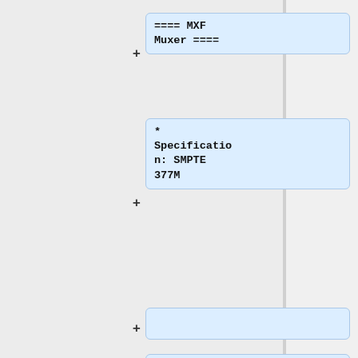==== MXF Muxer ====
* Specification: SMPTE 377M
''Mentor: Baptiste Coudurier''
==== RV40 Decoder ====
* [[RealVideo 4]] is steadily